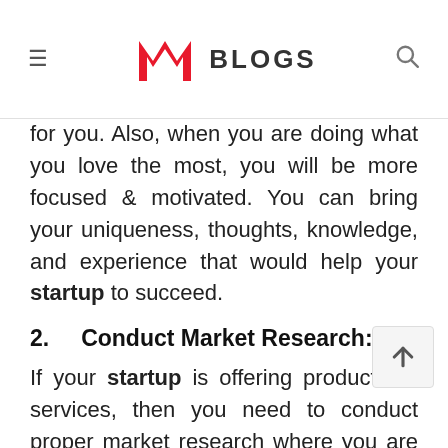≡ [M] BLOGS 🔍
for you. Also, when you are doing what you love the most, you will be more focused & motivated. You can bring your uniqueness, thoughts, knowledge, and experience that would help your startup to succeed.
2.    Conduct Market Research:
If your startup is offering products or services, then you need to conduct proper market research where you are operating. By conducting market research we mean to understand if your products or services are in demand or can it be accepted by targeted audiences or are there any similar type business that of you dealing with the same type of